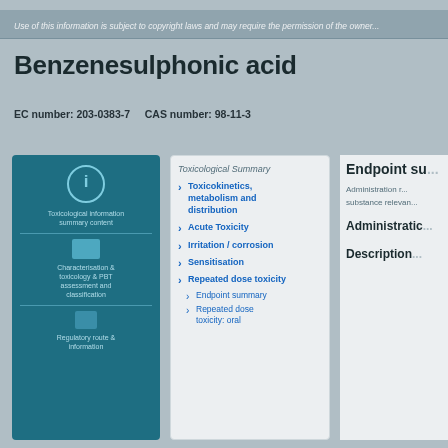Use of this information is subject to copyright laws and may require the permission...
Benzenesulphonic acid
EC number: 203-0383-7    CAS number: 98-11-3
[Figure (infographic): Left teal navigation panel with icons for toxicological information sections including Toxicological Summary, Absorption distribution and metabolism, Acute Toxicity, Irritation/corrosion, Sensitisation, Repeated dose toxicity, Endpoint summary, Repeated dose toxicity info]
Toxicological Summary
Absorption, distribution and distribution
Acute Toxicity
Irritation / corrosion
Sensitisation
Repeated dose toxicity
Endpoint summary
Repeated dose toxicity info
Endpoint su...
Administration r...
substance relevan...
Administratic...
Description...